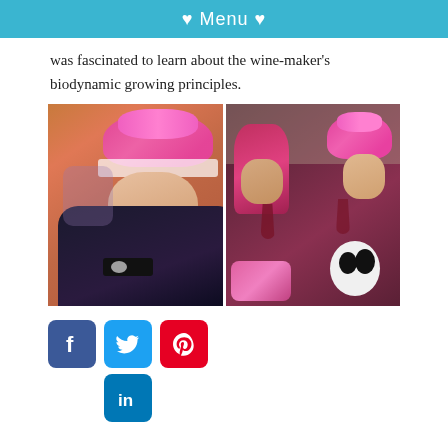♥ Menu ♥
was fascinated to learn about the wine-maker's biodynamic growing principles.
[Figure (photo): Two side-by-side photos of women wearing pink furry cat-ear hats. Left photo: one woman lying on a red sofa. Right photo: two women sitting together holding glasses of red wine, with a panda plush toy.]
[Figure (infographic): Social media sharing icons: Facebook, Twitter, Pinterest, LinkedIn]